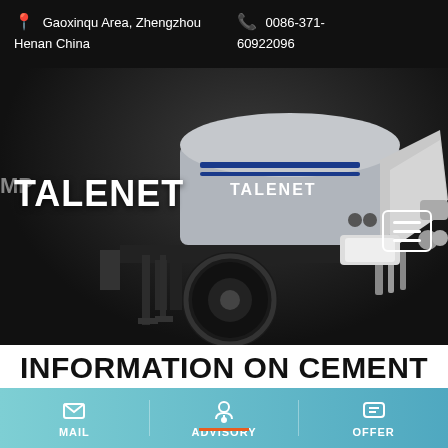Gaoxinqu Area, Zhengzhou Henan China   0086-371-60922096
[Figure (photo): Talenet branded concrete pump/mixer truck machine on dark background, gray and white colored trailer-mounted unit with large tire, company logo TALENET displayed on tank]
INFORMATION ON CEMENT MIXER TRUCK VINTAGE BRAND WORTHINGTON
MAIL   ADVISORY   OFFER